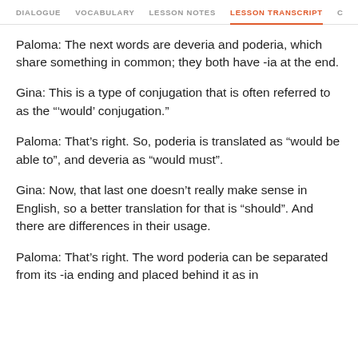DIALOGUE | VOCABULARY | LESSON NOTES | LESSON TRANSCRIPT | C
Paloma: The next words are deveria and poderia, which share something in common; they both have -ia at the end.
Gina: This is a type of conjugation that is often referred to as the "'would' conjugation."
Paloma: That's right. So, poderia is translated as “would be able to”, and deveria as “would must”.
Gina: Now, that last one doesn’t really make sense in English, so a better translation for that is “should”. And there are differences in their usage.
Paloma: That’s right. The word poderia can be separated from its -ia ending and placed behind it as in